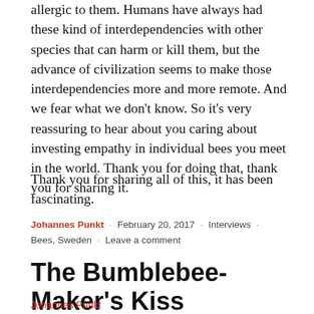allergic to them. Humans have always had these kind of interdependencies with other species that can harm or kill them, but the advance of civilization seems to make those interdependencies more and more remote. And we fear what we don't know. So it's very reassuring to hear about you caring about investing empathy in individual bees you meet in the world. Thank you for doing that, thank you for sharing it.
Thank you for sharing all of this, it has been fascinating.
Johannes Punkt · February 20, 2017 · Interviews · Bees, Sweden · Leave a comment
The Bumblebee-Maker's Kiss
Johannes Punkt